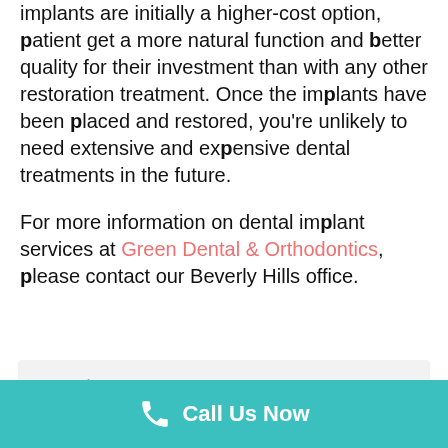implants are initially a higher-cost option, patient get a more natural function and better quality for their investment than with any other restoration treatment. Once the implants have been placed and restored, you're unlikely to need extensive and expensive dental treatments in the future.
For more information on dental implant services at Green Dental & Orthodontics, please contact our Beverly Hills office.
Search
Call Us Now